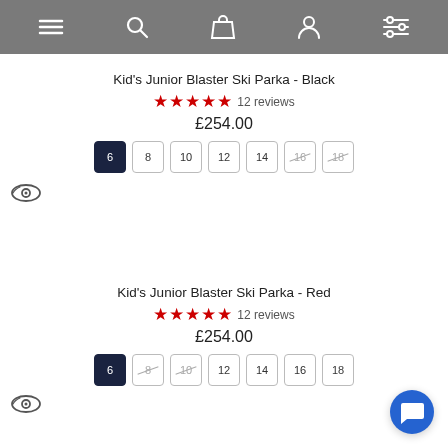Navigation bar with menu, search, bag, account, and filter icons
Kid's Junior Blaster Ski Parka - Black
★★★★★ 12 reviews
£254.00
Sizes: 6 (selected), 8, 10, 12, 14, 16 (unavailable), 18 (unavailable)
[Figure (other): Eye/quick-view icon]
Kid's Junior Blaster Ski Parka - Red
★★★★★ 12 reviews
£254.00
Sizes: 6 (selected), 8 (unavailable), 10 (unavailable), 12, 14, 16, 18
[Figure (other): Eye/quick-view icon]
[Figure (other): Blue chat bubble button]